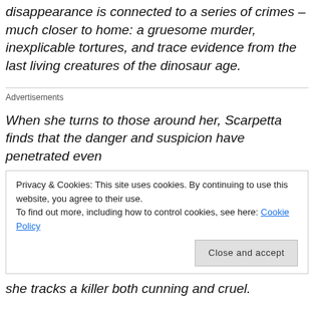disappearance is connected to a series of crimes – much closer to home: a gruesome murder, inexplicable tortures, and trace evidence from the last living creatures of the dinosaur age.
Advertisements
When she turns to those around her, Scarpetta finds that the danger and suspicion have penetrated even
Privacy & Cookies: This site uses cookies. By continuing to use this website, you agree to their use.
To find out more, including how to control cookies, see here: Cookie Policy
she tracks a killer both cunning and cruel.